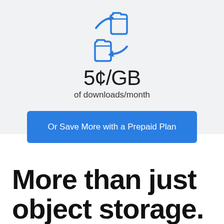[Figure (illustration): Two folder icons with arrows indicating file transfer/sync in blue outline style]
5¢/GB
of downloads/month
Or Save More with a Prepaid Plan
More than just object storage.